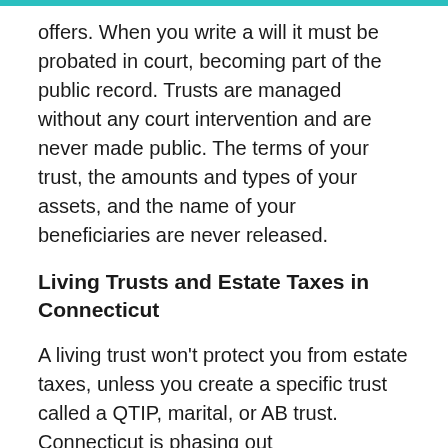offers. When you write a will it must be probated in court, becoming part of the public record. Trusts are managed without any court intervention and are never made public. The terms of your trust, the amounts and types of your assets, and the name of your beneficiaries are never released.
Living Trusts and Estate Taxes in Connecticut
A living trust won't protect you from estate taxes, unless you create a specific trust called a QTIP, marital, or AB trust. Connecticut is phasing out